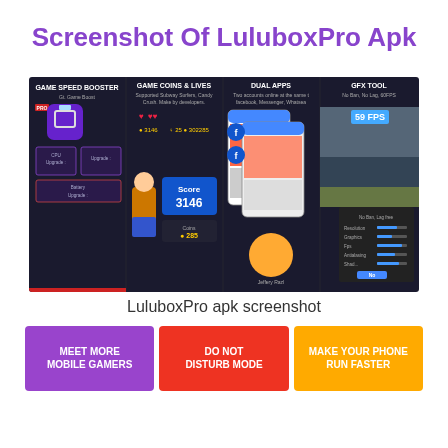Screenshot Of LuluboxPro Apk
[Figure (screenshot): LuluboxPro app screenshot showing four feature panels: Game Speed Booster, Game Coins & Lives, Dual Apps, and GFX Tool]
LuluboxPro apk screenshot
[Figure (screenshot): Three promotional banners: Meet More Mobile Gamers (purple), Do Not Disturb Mode (red), Make Your Phone Run Faster (orange)]